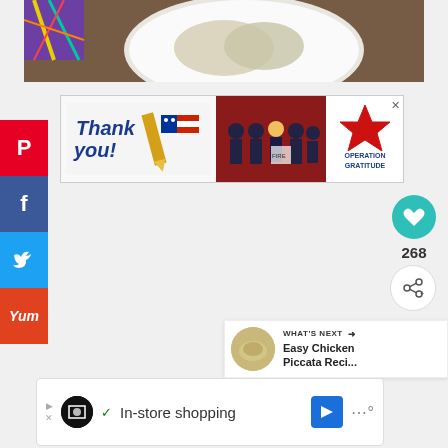[Figure (photo): Food photo showing what appears to be oysters or stuffed shells on a white decorative plate on a wooden surface, with a colorful fabric in the corner]
[Figure (screenshot): Advertisement banner: 'Thank you' with American flag pencil graphic on left, photo of firefighters in middle, Operation Gratitude logo on right with X close button]
[Figure (screenshot): Social media sidebar with Pinterest (red), Facebook (dark blue), Twitter (light blue), and Yum (orange-red) share buttons on the left side]
[Figure (screenshot): Heart/like button (teal circle) with count 268, and share button below it on the right side]
[Figure (screenshot): What's Next panel showing thumbnail and text 'Easy Chicken Piccata Reci...']
[Figure (screenshot): Bottom advertisement with logo icon, checkmark, 'In-store shopping' text, navigation icon, and dots indicator]